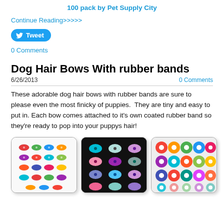100 pack by Pet Supply City
Continue Reading>>>>>
[Figure (other): Twitter Tweet button]
0 Comments
Dog Hair Bows With rubber bands
6/26/2013
0 Comments
These adorable dog hair bows with rubber bands are sure to please even the most finicky of puppies.  They are tiny and easy to put in. Each bow comes attached to it's own coated rubber band so they're ready to pop into your puppys hair!
[Figure (photo): Three photos of colorful dog hair bows with rubber bands arranged in a row]